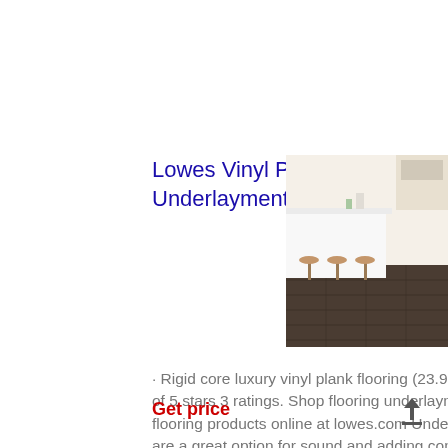Lowes Vinyl Plank Flooring Underlayment – Idalias Salon
[Figure (photo): Photo of a modern kitchen/dining area with white countertop island, bar stools, and dark vinyl plank flooring]
· Rigid core luxury vinyl plank flooring (23.95 sq. 3.3 out of 5 stars 3 ratings. Shop flooring underlayment and a va flooring products online at lowes.com Underlayments are a great option for sound and adding comfort under luxu floors. Shop flooring underlayment to at lowe's …
Get price